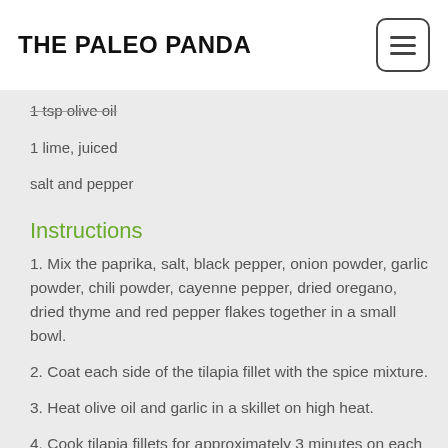THE PALEO PANDA
1 tsp olive oil
1 lime, juiced
salt and pepper
Instructions
1. Mix the paprika, salt, black pepper, onion powder, garlic powder, chili powder, cayenne pepper, dried oregano, dried thyme and red pepper flakes together in a small bowl.
2. Coat each side of the tilapia fillet with the spice mixture.
3. Heat olive oil and garlic in a skillet on high heat.
4. Cook tilapia fillets for approximately 3 minutes on each side until opaque and can be flaked with a fork.